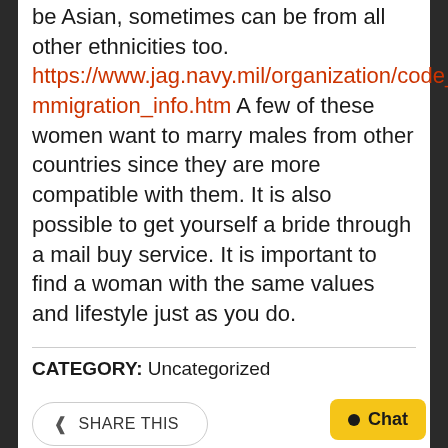be Asian, sometimes can be from all other ethnicities too. https://www.jag.navy.mil/organization/code_16_immigration_info.htm A few of these women want to marry males from other countries since they are more compatible with them. It is also possible to get yourself a bride through a mail buy service. It is important to find a woman with the same values and lifestyle just as you do.
CATEGORY: Uncategorized
SHARE THIS